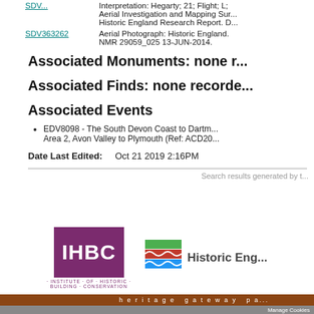| Reference | Description |
| --- | --- |
| SDV... | Interpretation: Hegarty; 21; Flight; L; Aerial Investigation and Mapping Sur... Historic England Research Report. D... |
| SDV363262 | Aerial Photograph: Historic England. NMR 29059_025 13-JUN-2014. |
Associated Monuments: none r...
Associated Finds: none recorde...
Associated Events
EDV8098 - The South Devon Coast to Dartm... Area 2, Avon Valley to Plymouth (Ref: ACD20...
Date Last Edited:    Oct 21 2019 2:16PM
Search results generated by t...
[Figure (logo): IHBC - Institute of Historic Building Conservation logo]
[Figure (logo): Historic England logo with coloured wave symbol]
heritage gateway pa...
Manage Cookies